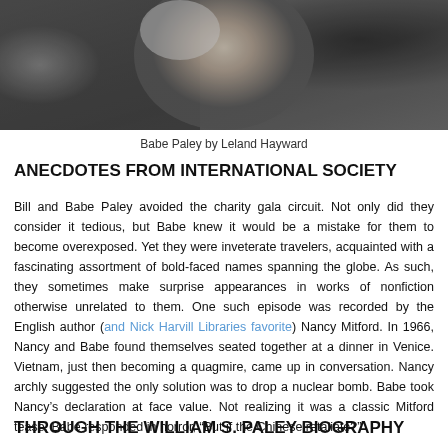[Figure (photo): Black and white photograph of Babe Paley by Leland Hayward, showing a close-up portrait]
Babe Paley by Leland Hayward
ANECDOTES FROM INTERNATIONAL SOCIETY
Bill and Babe Paley avoided the charity gala circuit. Not only did they consider it tedious, but Babe knew it would be a mistake for them to become overexposed. Yet they were inveterate travelers, acquainted with a fascinating assortment of bold-faced names spanning the globe. As such, they sometimes make surprise appearances in works of nonfiction otherwise unrelated to them. One such episode was recorded by the English author (and Nick Harvill Libraries favorite) Nancy Mitford. In 1966, Nancy and Babe found themselves seated together at a dinner in Venice. Vietnam, just then becoming a quagmire, came up in conversation. Nancy archly suggested the only solution was to drop a nuclear bomb. Babe took Nancy's declaration at face value. Not realizing it was a classic Mitford tease, Babe responded in horror, “But if the Chinese retaliate?”
THROUGH THE WILLIAM S. PALEY BIOGRAPHY